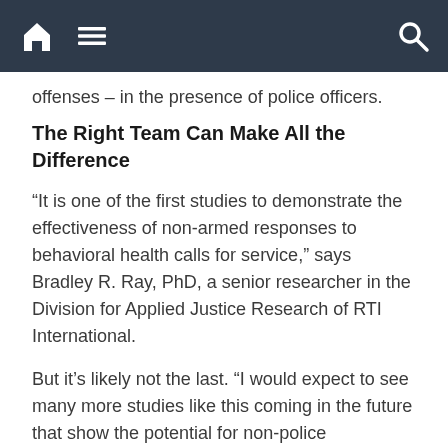[nav bar with home, menu, search icons]
offenses – in the presence of police officers.
The Right Team Can Make All the Difference
“It is one of the first studies to demonstrate the effectiveness of non-armed responses to behavioral health calls for service,” says Bradley R. Ray, PhD, a senior researcher in the Division for Applied Justice Research of RTI International.
But it’s likely not the last. “I would expect to see many more studies like this coming in the future that show the potential for non-police responses,” he says.
Using the program in other communities might be challenging, given the different designs of dispatch systems nationwide, Ray says. For example, in some cases, a sheriff runs the system, while others are controlled by city governments that require fire.